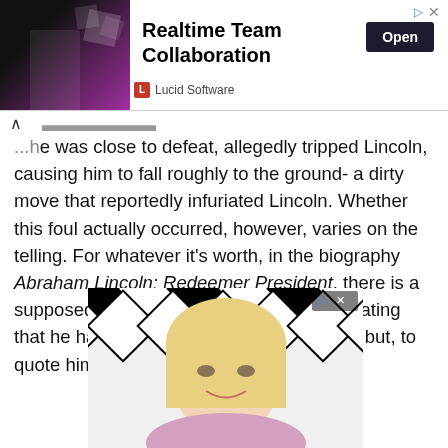[Figure (other): Advertisement banner for Lucid Software showing 'Realtime Team Collaboration' with an Open button and dark image on left side]
...he was close to defeat, allegedly tripped Lincoln, causing him to fall roughly to the ground- a dirty move that reportedly infuriated Lincoln. Whether this foul actually occurred, however, varies on the telling. For whatever it's worth, in the biography Abraham Lincoln: Redeemer President, there is a supposed quote from Armstrong himself stating that he had indeed knocked Lincoln down, but, to quote him, "did not do it fairly."
[Figure (photo): Photo of a blonde woman smiling, with a black and white geometric diamond pattern background]